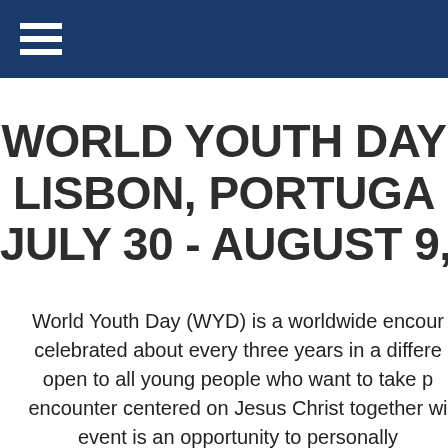WORLD YOUTH DAY LISBON, PORTUGAL JULY 30 - AUGUST 9,
World Youth Day (WYD) is a worldwide encoun celebrated about every three years in a differe open to all young people who want to take encounter centered on Jesus Christ together wi event is an opportunity to personally experience the Catholic Church, and to share with the whol